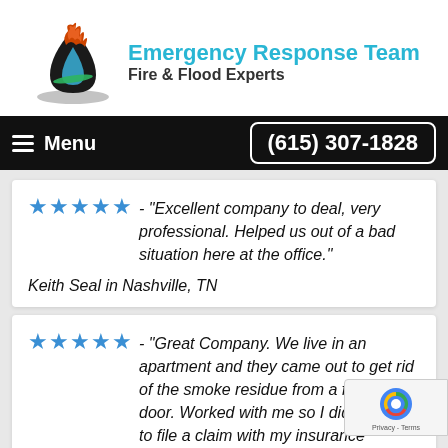[Figure (logo): Emergency Response Team logo with flame/water droplet icon, teal and orange colors]
Emergency Response Team - Fire & Flood Experts | Menu | (615) 307-1828
★★★★★ - "Excellent company to deal, very professional. Helped us out of a bad situation here at the office."

Keith Seal in Nashville, TN
★★★★★ - "Great Company. We live in an apartment and they came out to get rid of the smoke residue from a fire next door. Worked with me so I didn't have to file a claim with my insurance company